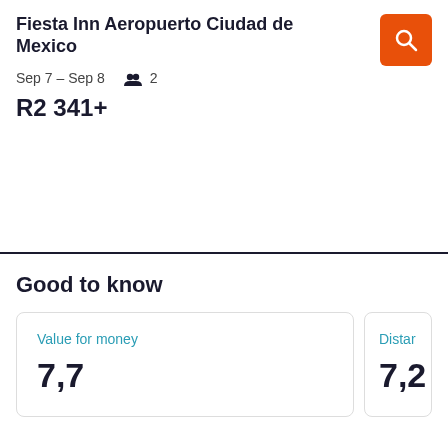Fiesta Inn Aeropuerto Ciudad de Mexico
Sep 7 – Sep 8   2
R2 341+
Good to know
Value for money
7,7
Distan
7,2 k